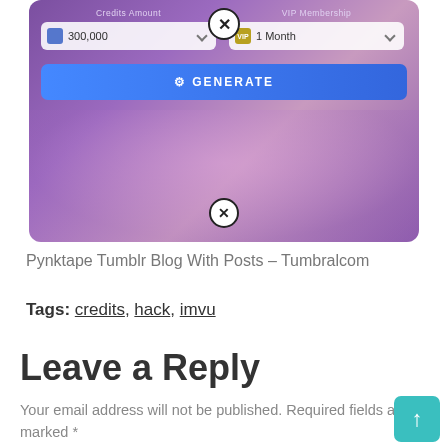[Figure (screenshot): Screenshot of IMVU credits generator web tool showing Credits Amount field with 300,000, VIP Membership field with 1 Month, and a blue GENERATE button, with close buttons]
Pynktape Tumblr Blog With Posts – Tumbralcom
Tags: credits, hack, imvu
Leave a Reply
Your email address will not be published. Required fields are marked *